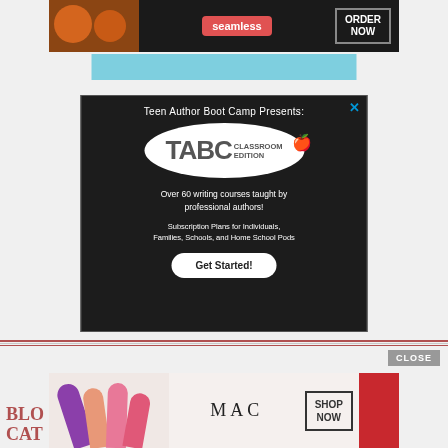[Figure (illustration): Seamless food delivery advertisement banner with pizza image on left, Seamless logo in red badge center, and ORDER NOW button on right against dark background]
[Figure (illustration): Teen Author Boot Camp Presents: TABC Classroom Edition advertisement on chalkboard background. White splash logo with TABC text, text 'Over 60 writing courses taught by professional authors!' and 'Subscription Plans for Individuals, Families, Schools, and Home School Pods', Get Started button, and apple graphic]
[Figure (illustration): MAC cosmetics advertisement with lipsticks on left, MAC logo in center, SHOP NOW button, and red lipstick on right. CLOSE button above. BLOG CATI text partially visible bottom left.]